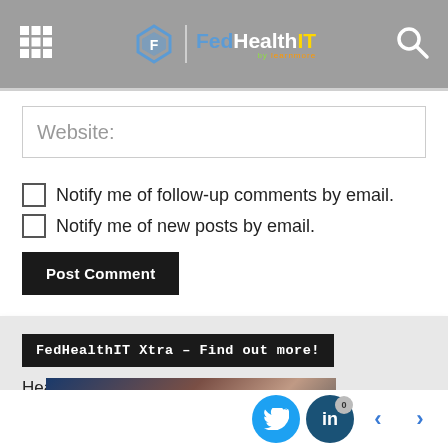FedHealthIT
Website:
Notify me of follow-up comments by email.
Notify me of new posts by email.
Post Comment
FedHealthIT Xtra – Find out more!
Heath & Human Services News Xtra
[Figure (photo): Partial image of people, dark blue and skin tones visible at bottom of page]
Twitter | LinkedIn 0 | < | >